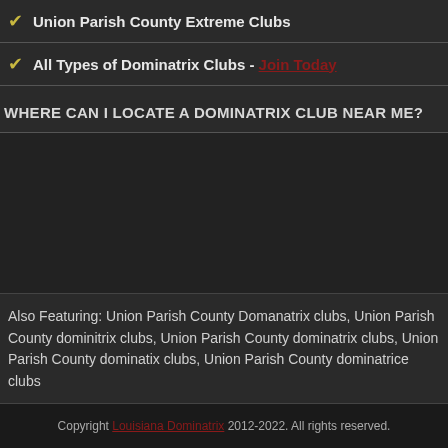Union Parish County Extreme Clubs
All Types of Dominatrix Clubs - Join Today
WHERE CAN I LOCATE A DOMINATRIX CLUB NEAR ME?
Also Featuring: Union Parish County Domanatrix clubs, Union Parish County dominitrix clubs, Union Parish County dominatrix clubs, Union Parish County dominatix clubs, Union Parish County dominatrice clubs
Copyright Louisiana Dominatrix 2012-2022. All rights reserved.